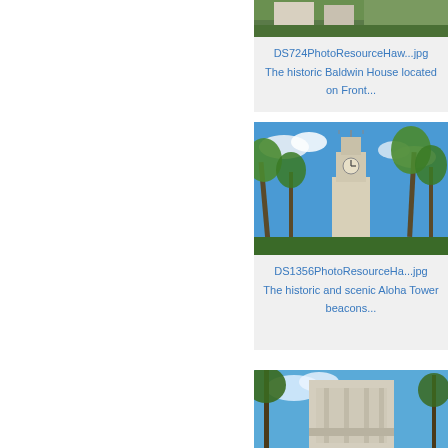[Figure (photo): Photo of historic Baldwin House building with grass and people, partially cropped at top]
DS724PhotoResourceHaw...jpg
The historic Baldwin House located on Front...
[Figure (photo): Photo of Aloha Tower with palm trees against blue sky]
DS1356PhotoResourceHa...jpg
The historic and scenic Aloha Tower beacons...
[Figure (photo): Photo of Aloha Tower close-up with palm trees, partially visible at bottom of page]